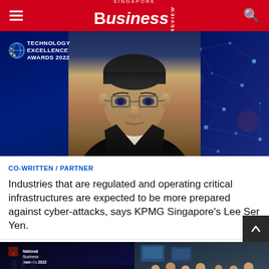SINGAPORE BUSINESS REVIEW
[Figure (photo): Hero image showing a man with glasses in a dark suit against a dark blue background. Top left shows 'Technology Excellence Awards 2022' badge with stars. Right side shows a network/technology themed background with connecting dots.]
CO-WRITTEN / PARTNER
Industries that are regulated and operating critical infrastructures are expected to be more prepared against cyber-attacks, says KPMG Singapore's Lee Ser Yen.
[Figure (photo): Bottom left thumbnail: dark background with 'National Business Awards 2022' text and logos]
[Figure (photo): Bottom right thumbnail: group of people in an office/workspace setting]